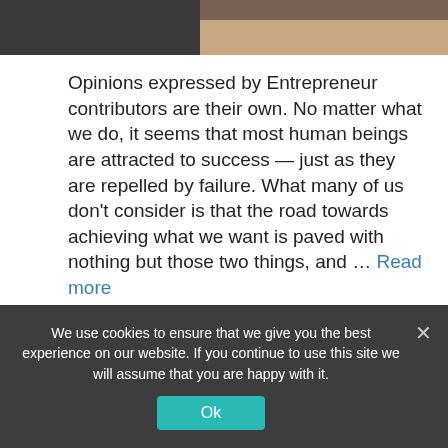[Figure (photo): Top portion of an office scene showing a dark chair on the left and a wooden desk surface on the right, cropped to a narrow horizontal strip.]
Opinions expressed by Entrepreneur contributors are their own. No matter what we do, it seems that most human beings are attracted to success — just as they are repelled by failure. What many of us don't consider is that the road towards achieving what we want is paved with nothing but those two things, and … Read more
Entrepreneur
We use cookies to ensure that we give you the best experience on our website. If you continue to use this site we will assume that you are happy with it.
Ok